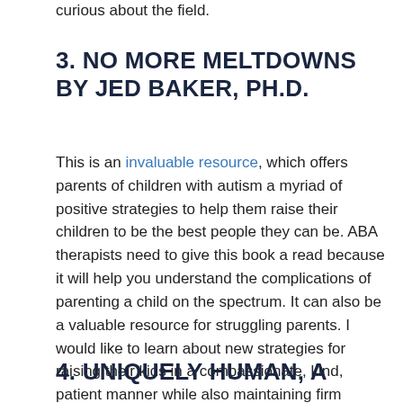curious about the field.
3. NO MORE MELTDOWNS BY JED BAKER, Ph.D.
This is an invaluable resource, which offers parents of children with autism a myriad of positive strategies to help them raise their children to be the best people they can be. ABA therapists need to give this book a read because it will help you understand the complications of parenting a child on the spectrum. It can also be a valuable resource for struggling parents. I would like to learn about new strategies for raising their kids in a compassionate, kind, patient manner while also maintaining firm boundaries.
4. UNIQUELY HUMAN, A